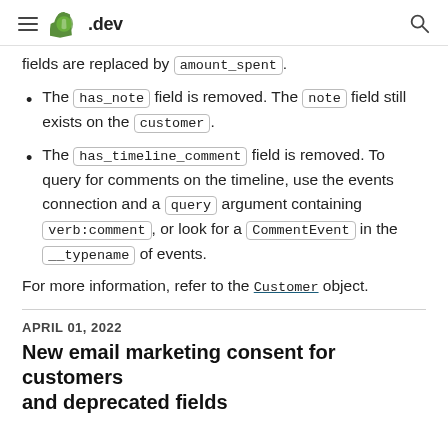.dev
fields are replaced by amount_spent.
The has_note field is removed. The note field still exists on the customer.
The has_timeline_comment field is removed. To query for comments on the timeline, use the events connection and a query argument containing verb:comment, or look for a CommentEvent in the __typename of events.
For more information, refer to the Customer object.
APRIL 01, 2022
New email marketing consent for customers and deprecated fields